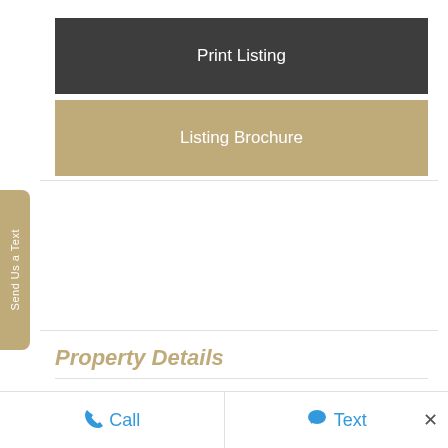Print Listing
Listing Brochure
Send Us a Text
Property Details
Subarea
Kelowna
Call
Text